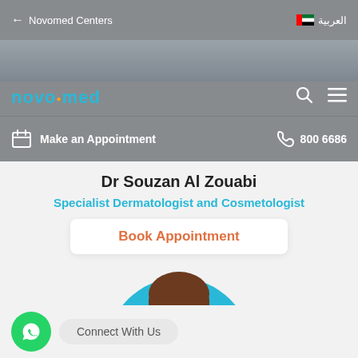← Novomed Centers   العربية 🇦🇪
[Figure (logo): Novomed logo in teal text on grey background with search and menu icons]
Make an Appointment   📞 800 6686
Dr Souzan Al Zouabi
Specialist Dermatologist and Cosmetologist
Book Appointment
[Figure (photo): Professional photo of Dr Souzan Al Zouabi, a female dermatologist smiling, wearing white coat, with teal circular background element]
Connect With Us